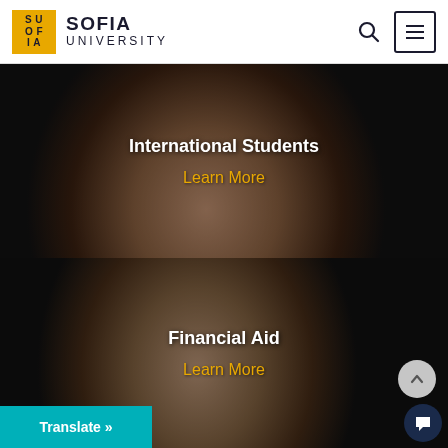SOFIA UNIVERSITY
[Figure (photo): Smiling woman graduate with dark hair wearing academic regalia with red, against blurred background with red flowers/artwork]
International Students
Learn More
[Figure (photo): Woman smiling holding a young girl in a red dress, at a graduation ceremony with people in academic gowns in background]
Financial Aid
Learn More
Translate »